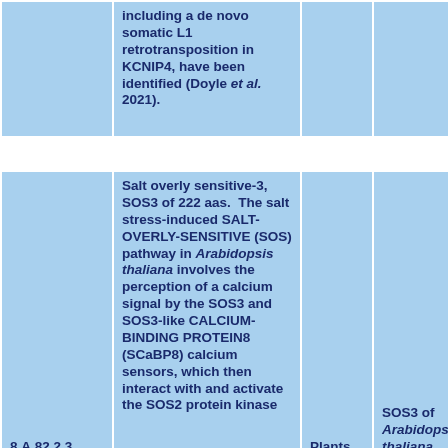| ID | Description | Organism | Protein |
| --- | --- | --- | --- |
|  | including a de novo somatic L1 retrotransposition in KCNIP4, have been identified (Doyle et al. 2021). |  |  |
| 8.A.82.2.3 | Salt overly sensitive-3, SOS3 of 222 aas. The salt stress-induced SALT-OVERLY-SENSITIVE (SOS) pathway in Arabidopsis thaliana involves the perception of a calcium signal by the SOS3 and SOS3-like CALCIUM-BINDING PROTEIN8 (SCaBP8) calcium sensors, which then interact with and activate the SOS2 protein kinase... | Plants | SOS3 of Arabidopsis thaliana |